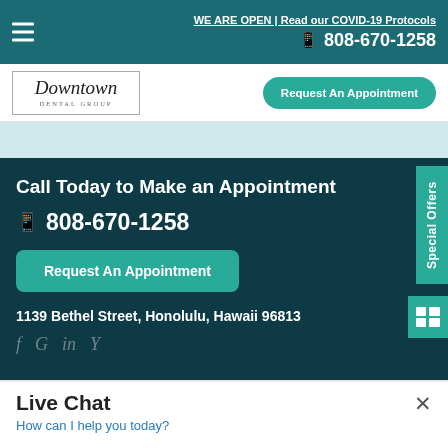WE ARE OPEN | Read our COVID-19 Protocols
808-670-1258
[Figure (logo): Downtown Dental Group logo in a rectangular border with script font]
Request An Appointment
Call Today to Make an Appointment
808-670-1258
Request An Appointment
1139 Bethel Street, Honolulu, Hawaii 96813
Special Offers
Live Chat
How can I help you today?